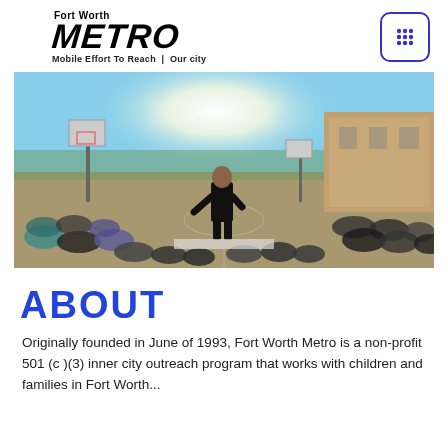Fort Worth METRO Mobile Effort To Reach Our city
[Figure (photo): Outdoor school courtyard scene with a person standing on a stage or platform speaking to a large crowd of children and adults seated on the ground, with a basketball hoop visible and a brick building in the background under a bright blue sky.]
ABOUT
Originally founded in June of 1993, Fort Worth Metro is a non-profit 501 (c )(3) inner city outreach program that works with children and families in Fort Worth...